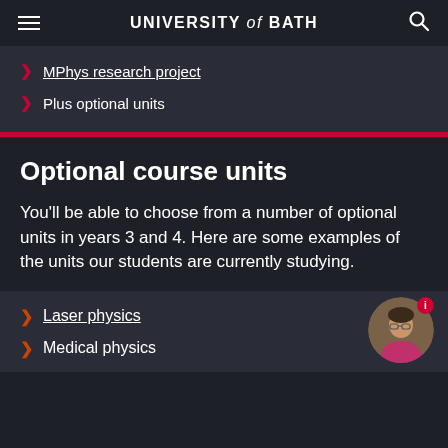UNIVERSITY of BATH
MPhys research project
Plus optional units
Optional course units
You'll be able to choose from a number of optional units in years 3 and 4. Here are some examples of the units our students are currently studying.
Laser physics
Medical physics